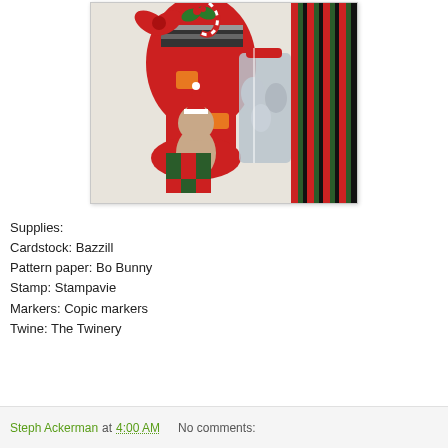[Figure (photo): A Christmas craft card featuring a red stocking with a mouse/elf character sitting beside it holding a gift, candy canes and ribbons at the top, silver Hershey kisses chocolates in a clear bag beside the stocking, and colorful red/green/black vertical striped patterned paper on the right side of the card.]
Supplies:
Cardstock: Bazzill
Pattern paper: Bo Bunny
Stamp: Stampavie
Markers: Copic markers
Twine: The Twinery
Steph Ackerman at 4:00 AM   No comments: